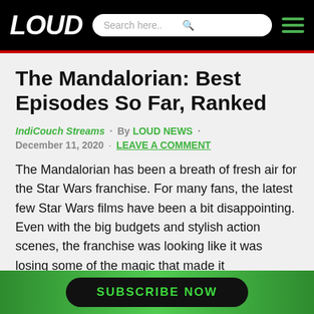LOUD | Search here..
The Mandalorian: Best Episodes So Far, Ranked
IndiCouch Streams · By LOUD NEWS · December 11, 2020 · LEAVE A COMMENT
The Mandalorian has been a breath of fresh air for the Star Wars franchise. For many fans, the latest few Star Wars films have been a bit disappointing. Even with the big budgets and stylish action scenes, the franchise was looking like it was losing some of the magic that made it
SUBSCRIBE NOW